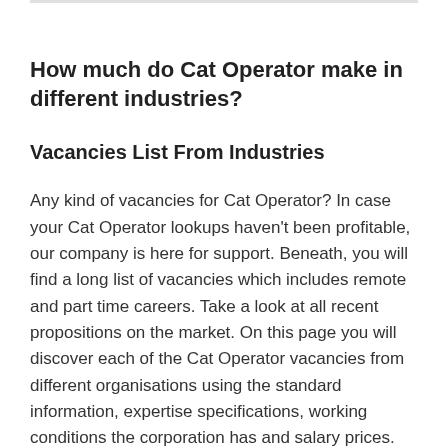How much do Cat Operator make in different industries?
Vacancies List From Industries
Any kind of vacancies for Cat Operator? In case your Cat Operator lookups haven't been profitable, our company is here for support. Beneath, you will find a long list of vacancies which includes remote and part time careers. Take a look at all recent propositions on the market. On this page you will discover each of the Cat Operator vacancies from different organisations using the standard information, expertise specifications, working conditions the corporation has and salary prices.